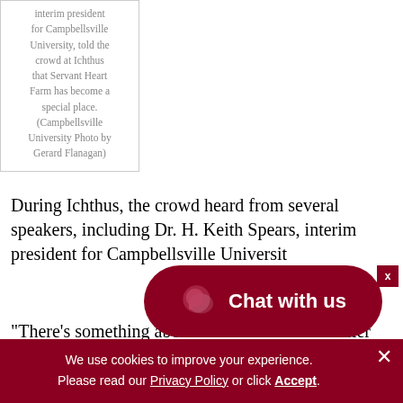interim president for Campbellsville University, told the crowd at Ichthus that Servant Heart Farm has become a special place. (Campbellsville University Photo by Gerard Flanagan)
During Ichthus, the crowd heard from several speakers, including Dr. H. Keith Spears, interim president for Campbellsville University.
“There’s something abou… on the hill here earlier today, we witnessed a wedding.